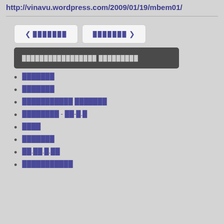http://vinavu.wordpress.com/2009/01/19/mbem01/
████████
████████
████████████ ████████
█████████ - ██-█.█
████
████████
██.██.█.██
████████████